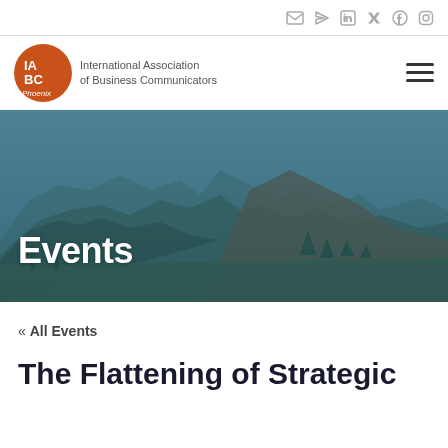Email, Share, LinkedIn, Twitter, Facebook, Instagram icons
[Figure (logo): IABC Phoenix logo — orange circle with IA BC letters and text International Association of Business Communicators Phoenix]
[Figure (photo): Phoenix desert mountain landscape with teal/blue overlay, hero banner image]
Events
« All Events
The Flattening of Strategic